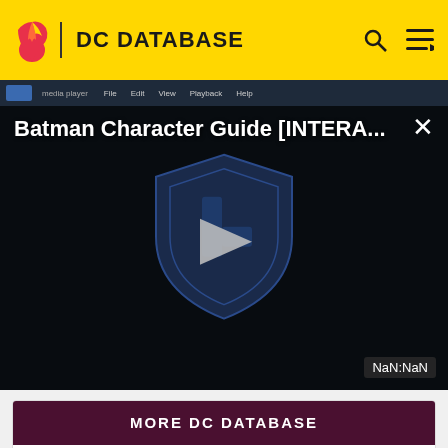DC DATABASE
[Figure (screenshot): Video player showing Batman Character Guide [INTERA...] with a play button overlay on a dark background with a Justice League shield logo. Timestamp shows NaN:NaN.]
MORE DC DATABASE
1 Perpetua (Sixth Dimension)